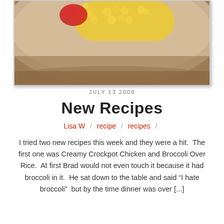[Figure (photo): Close-up photo of a plate of food with corn/chickpeas and a red garnish on a table surface]
JULY 13 2008
New Recipes
Lisa W / recipe / recipes /
I tried two new recipes this week and they were a hit.  The first one was Creamy Crockpot Chicken and Broccoli Over Rice.  At first Brad would not even touch it because it had broccoli in it.  He sat down to the table and said “I hate broccoli”  but by the time dinner was over [...]